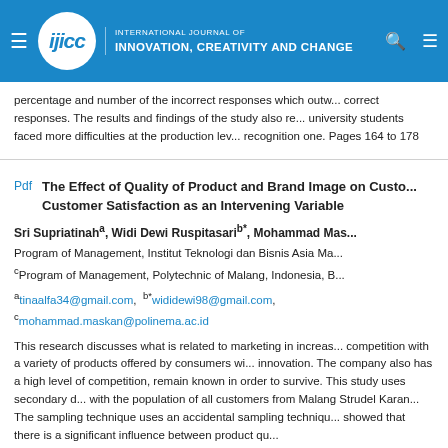INTERNATIONAL JOURNAL OF INNOVATION, CREATIVITY AND CHANGE
percentage and number of the incorrect responses which outweighed the correct responses. The results and findings of the study also revealed that university students faced more difficulties at the production level than the recognition one. Pages 164 to 178
Pdf
The Effect of Quality of Product and Brand Image on Customer Loyalty with Customer Satisfaction as an Intervening Variable
Sri Supriatinaha, Widi Dewi Ruspitasarib*, Mohammad Maskan c
Program of Management, Institut Teknologi dan Bisnis Asia Malang, cProgram of Management, Polytechnic of Malang, Indonesia
atinaalfa34@gmail.com, b*wididewi98@gmail.com, cmohammad.maskan@polinema.ac.id
This research discusses what is related to marketing in increasing competition with a variety of products offered by consumers with innovation. The company also has a high level of competition, and must remain known in order to survive. This study uses secondary data with the population of all customers from Malang Strudel Karangploso. The sampling technique uses an accidental sampling technique. showed that there is a significant influence between product quality